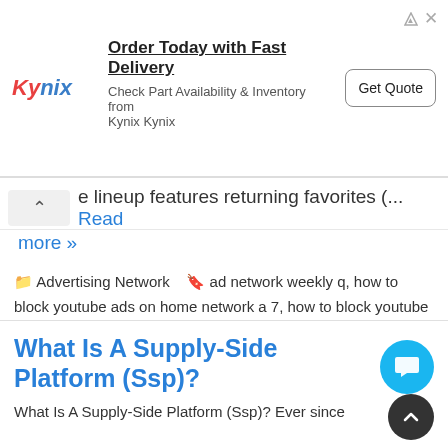[Figure (other): Kynix advertisement banner with logo, headline 'Order Today with Fast Delivery', subtext 'Check Part Availability & Inventory from Kynix Kynix', and 'Get Quote' button]
e lineup features returning favorites (... Read more »
Advertising Network  ad network weekly q, how to block youtube ads on home network a 7, how to block youtube ads on network g 6, what are ad roles k 5, what is ad network in digital marketing u, which networks roll over data m 1, why are there commercials on hulu ad free b 4
What Is A Supply-Side Platform (Ssp)?
What Is A Supply-Side Platform (Ssp)? Ever since